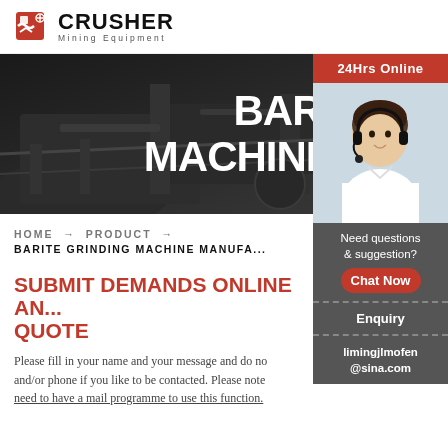CRUSHER Mining Equipment
[Figure (photo): Dark industrial mining equipment scene used as hero background]
BARITE GRINDING MACHINE MANUFACTURER
[Figure (photo): Customer service representative with headset - 24Hrs Online sidebar widget]
HOME → PRODUCT → BARITE GRINDING MACHINE MANUFACTURER
SUBMIT DEMANDS ONLINE AND GET QUOTE
Please fill in your name and your message and do not forget mail and/or phone if you like to be contacted. Please note that you need to have a mail programme to use this function.